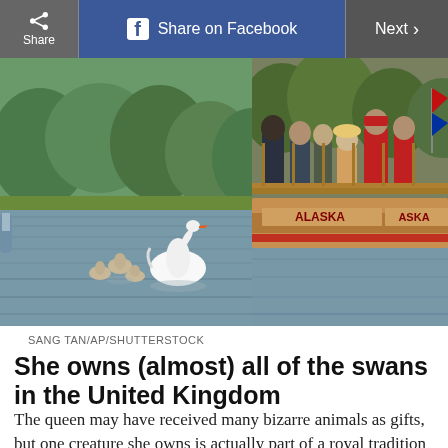Share | Share on Facebook | Next >
[Figure (photo): Two-panel composite image: left panel shows swans with cygnets swimming on a river with green trees in background; right panel shows people in formal/ceremonial dress on a wooden boat named ALASKA]
SANG TAN/AP/SHUTTERSTOCK
She owns (almost) all of the swans in the United Kingdom
The queen may have received many bizarre animals as gifts, but one creature she owns is actually part of a royal tradition that dates back to